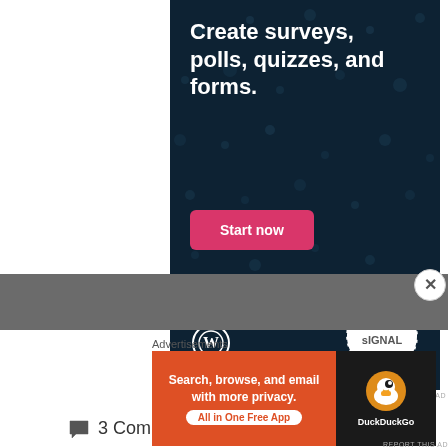[Figure (illustration): Crowdsignal advertisement banner on dark navy background with dots pattern. Text reads 'Create surveys, polls, quizzes, and forms.' with a pink 'Start now' button, WordPress logo bottom-left, and Crowdsignal circular logo bottom-right.]
REPORT THIS AD
3 Comments
[Figure (illustration): DuckDuckGo advertisement banner. Left side orange with text 'Search, browse, and email with more privacy. All in One Free App'. Right side dark with DuckDuckGo duck logo and 'DuckDuckGo' text.]
Advertisements
REPORT THIS AD